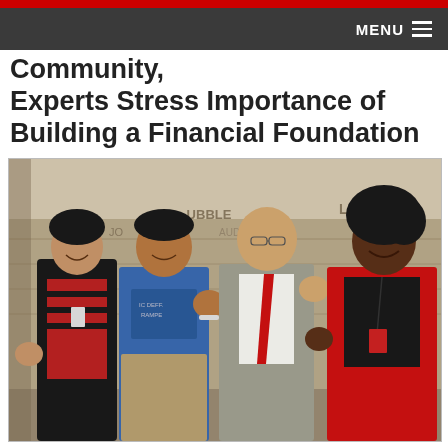MENU
Community, Experts Stress Importance of Building a Financial Foundation
[Figure (photo): Four people posing together indoors in front of a stone wall, making hand gestures. From left: a young woman in a red and black outfit, a young man in a blue t-shirt, an older man in a grey suit with a red tie, and a woman in a red blazer with a lanyard.]